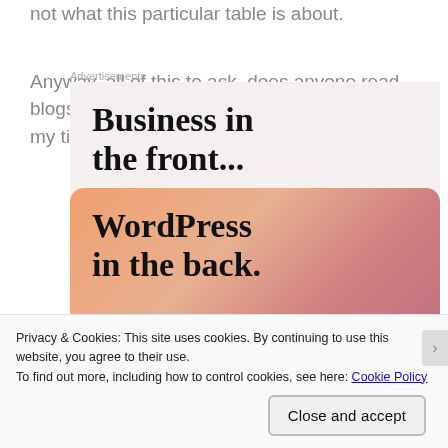not what this particular table is about.
Anyway, all of this to ask, does anyone read blogs anymore? Just wondering if it's worth my time.
[Figure (screenshot): Advertisement banner showing 'Business in the front...' text on a light background and 'WordPress in the back.' text on a gradient orange-pink background]
Privacy & Cookies: This site uses cookies. By continuing to use this website, you agree to their use.
To find out more, including how to control cookies, see here: Cookie Policy
Close and accept